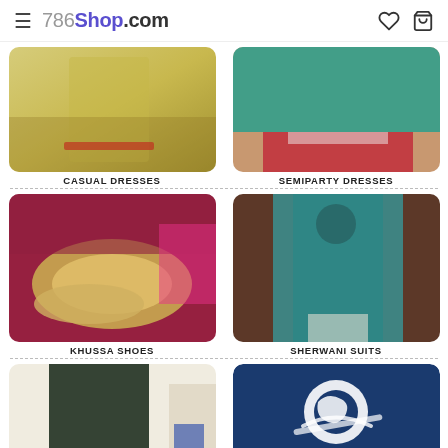786Shop.com
CASUAL DRESSES
[Figure (photo): Casual yellow dress clothing]
SEMIPARTY DRESSES
[Figure (photo): Teal and red semiparty dress]
KHUSSA SHOES
[Figure (photo): Traditional khussa shoes in gold and pink]
SHERWANI SUITS
[Figure (photo): Man wearing teal sherwani suit]
[Figure (photo): Man in dark green kurta shalwar]
[Figure (logo): 786Shop logo on dark blue background]